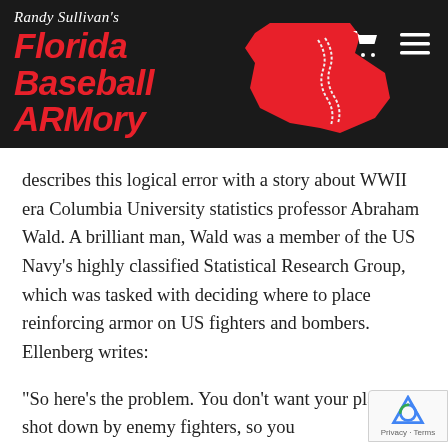[Figure (logo): Randy Sullivan's Florida Baseball ARMory logo with red Florida state silhouette containing baseball stitching, on black background with shopping cart and menu icons]
describes this logical error with a story about WWII era Columbia University statistics professor Abraham Wald. A brilliant man, Wald was a member of the US Navy's highly classified Statistical Research Group, which was tasked with deciding where to place reinforcing armor on US fighters and bombers. Ellenberg writes:
“So here’s the problem. You don’t want your planes shot down by enemy fighters, so you